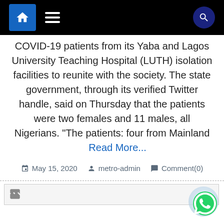Navigation bar with home, menu, and search icons
COVID-19 patients from its Yaba and Lagos University Teaching Hospital (LUTH) isolation facilities to reunite with the society. The state government, through its verified Twitter handle, said on Thursday that the patients were two females and 11 males, all Nigerians. “The patients: four from Mainland   Read More...
May 15, 2020   metro-admin   Comment(0)
[Figure (other): Broken image placeholder]
[Figure (other): WhatsApp contact button icon in bottom right corner]